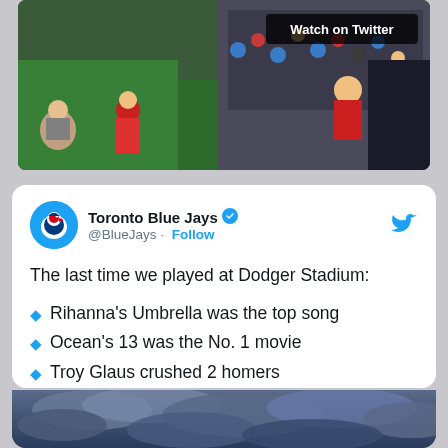[Figure (photo): Baseball stadium scene with players and fans, 'Watch on Twitter' overlay in top right corner]
Toronto Blue Jays ✓ @BlueJays · Follow
The last time we played at Dodger Stadium:
Rihanna's Umbrella was the top song
Ocean's 13 was the No. 1 movie
Troy Glaus crushed 2 homers
Doc had 2 hits & picked up the win
Can you guess the year? 🤔
[Figure (photo): Dramatic cloudy sky image at bottom of tweet]